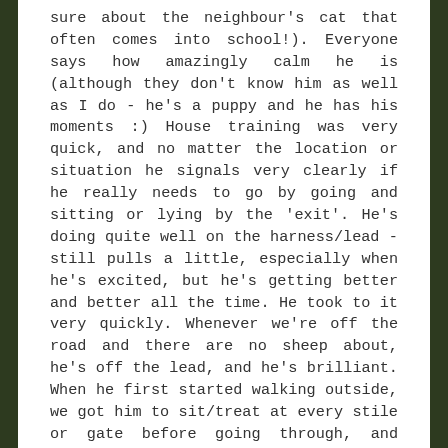sure about the neighbour's cat that often comes into school!). Everyone says how amazingly calm he is (although they don't know him as well as I do - he's a puppy and he has his moments :) House training was very quick, and no matter the location or situation he signals very clearly if he really needs to go by going and sitting or lying by the 'exit'. He's doing quite well on the harness/lead - still pulls a little, especially when he's excited, but he's getting better and better all the time. He took to it very quickly. Whenever we're off the road and there are no sheep about, he's off the lead, and he's brilliant. When he first started walking outside, we got him to sit/treat at every stile or gate before going through, and since being off the lead in fields has never gone through a stile or gate without waiting to be told it's OK. He even waited at an open gate